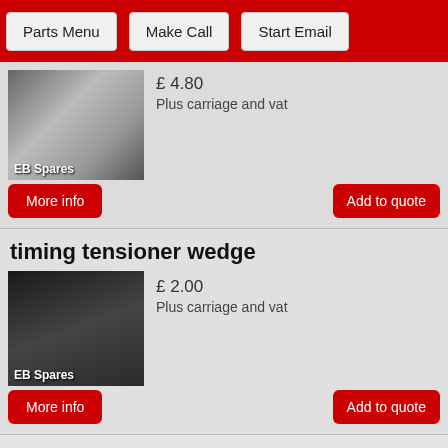Parts Menu | Make Call | Start Email
£ 4.80
Plus carriage and vat
[Figure (photo): Photo of a metal screw/bolt part with 'EB Spares' watermark]
More info
Add to quote
timing tensioner wedge
£ 2.00
Plus carriage and vat
[Figure (photo): Photo of a small metal wedge part with 'EB Spares' watermark]
More info
Add to quote
Engine gasket set 1300 (original Reinze head gasket)
[Figure (photo): Photo of engine gasket set]